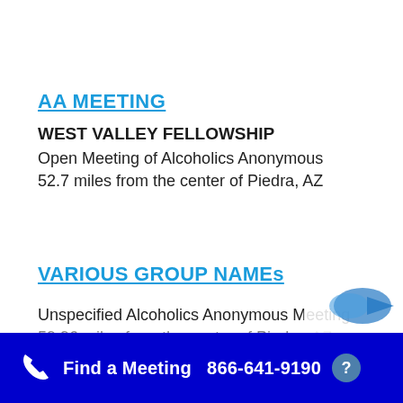AA MEETING
WEST VALLEY FELLOWSHIP
Open Meeting of Alcoholics Anonymous
52.7 miles from the center of Piedra, AZ
VARIOUS GROUP NAMEs
Unspecified Alcoholics Anonymous Meeting
59.96 miles from the center of Piedra, AZ
Find a Meeting  866-641-9190